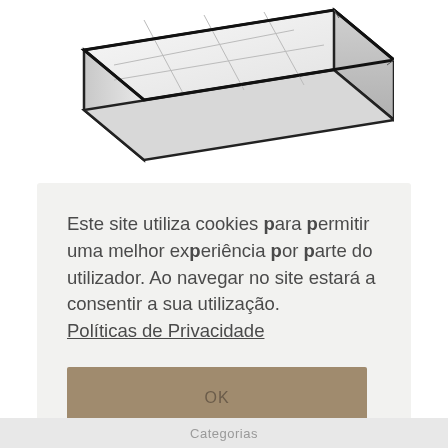[Figure (photo): Product photo of a white quilted mattress shown at an angle, with black border trim, on a white background. Only the top and corner portion of the mattress is visible.]
Este site utiliza cookies para permitir uma melhor experiência por parte do utilizador. Ao navegar no site estará a consentir a sua utilização. Políticas de Privacidade
OK
Categorias